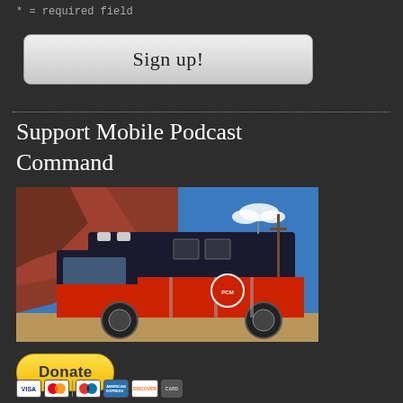* = required field
Sign up!
Support Mobile Podcast Command
[Figure (photo): A red and black ambulance/fire rescue truck parked outdoors with red rock formations and blue sky in the background. The vehicle has a circular logo on its side.]
Donate
[Figure (other): Payment method icons: Visa, Mastercard, American Express, Discover, and another card.]